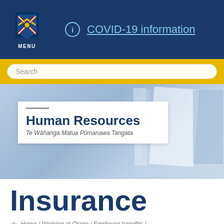[Figure (screenshot): University of Otago crest logo with MENU text below on dark navy background]
COVID-19 information
[Figure (screenshot): Yellow search bar with rounded search input field]
[Figure (illustration): Hero banner with blurred background showing papers/documents, with white card overlay containing Human Resources heading]
Human Resources
Te Wāhanga Matua Pūmanawa Tangata
Insurance
Home / Working at Otago / Employee benefits /